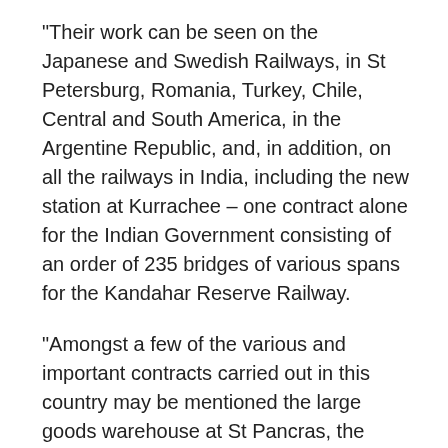"Their work can be seen on the Japanese and Swedish Railways, in St Petersburg, Romania, Turkey, Chile, Central and South America, in the Argentine Republic, and, in addition, on all the railways in India, including the new station at Kurrachee – one contract alone for the Indian Government consisting of an order of 235 bridges of various spans for the Kandahar Reserve Railway.
"Amongst a few of the various and important contracts carried out in this country may be mentioned the large goods warehouse at St Pancras, the extension of the London Road Station, Manchester, which, including the basement and bridges in connection therewith, consumed more than 7,000 tons of ironwork; the new station at Victoria, Manchester, for the Cheshire Lines Committee; the new Exchange Station Liverpool, for the Lancashire and Yorkshire Railway Company; the whole of the bridges for the Cheshire Lines Committee's Railway from Manchester to Liverpool, including the very large viaducts at Castlefields, Manchester; the large